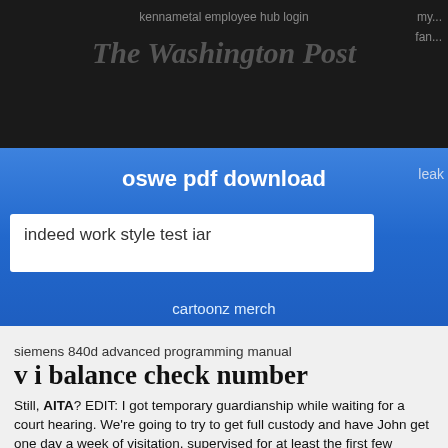kennametal employee hub login   The Washington Post   my...   fan...
oswe pdf download
leak
indeed work style test iar
cartoonz merch
siemens 840d advanced programming manual
v i balance check number
Still, AITA? EDIT: I got temporary guardianship while waiting for a court hearing. We're going to try to get full custody and have John get one day a week of visitation, supervised for at least the first few months, and no contact with Amanda or her kids. This way, he still sees Sadie just as much and they can try to repair their relationship.
By keramika enmon